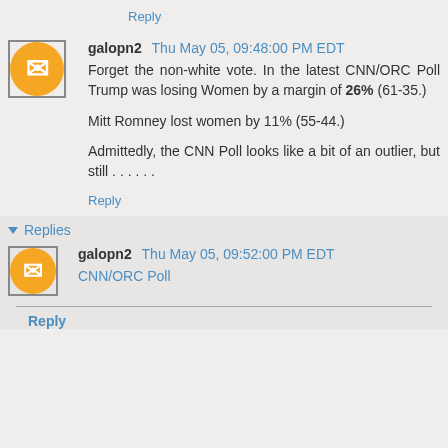Reply
galopn2  Thu May 05, 09:48:00 PM EDT
Forget the non-white vote. In the latest CNN/ORC Poll Trump was losing Women by a margin of 26% (61-35.)

Mitt Romney lost women by 11% (55-44.)

Admittedly, the CNN Poll looks like a bit of an outlier, but still . . . . . .
Reply
▼ Replies
galopn2  Thu May 05, 09:52:00 PM EDT
CNN/ORC Poll
Reply